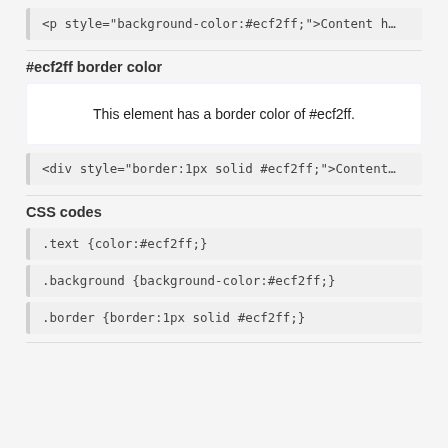<p style="background-color:#ecf2ff;">Content h…
#ecf2ff border color
This element has a border color of #ecf2ff.
<div style="border:1px solid #ecf2ff;">Content…
CSS codes
.text {color:#ecf2ff;}
.background {background-color:#ecf2ff;}
.border {border:1px solid #ecf2ff;}